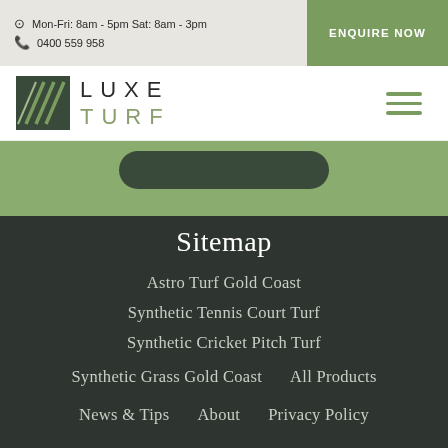Mon-Fri: 8am - 5pm Sat: 8am - 3pm | 0400 559 958 | ENQUIRE NOW
[Figure (logo): Luxe Turf logo with stylized grass graphic and text LUXE TURF]
[Figure (other): Green band with dark rounded button element]
Sitemap
Astro Turf Gold Coast
Synthetic Tennis Court Turf
Synthetic Cricket Pitch Turf
Synthetic Grass Gold Coast
All Products
News & Tips
About
Privacy Policy